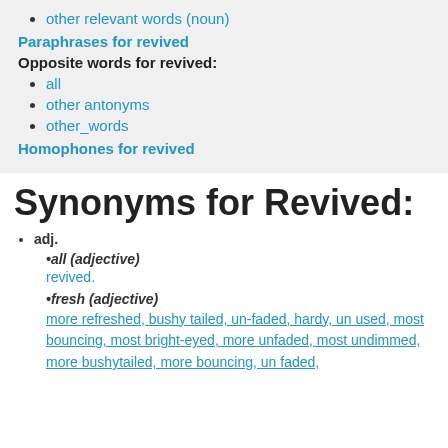other relevant words (noun)
Paraphrases for revived
Opposite words for revived:
all
other antonyms
other_words
Homophones for revived
Synonyms for Revived:
adj.
•all (adjective)
revived.
•fresh (adjective)
more refreshed, bushy tailed, un-faded, hardy, un used, most bouncing, most bright-eyed, more unfaded, most undimmed, more bushytailed, more bouncing, un faded, more fresh, more bright-eyed, bright, and more.